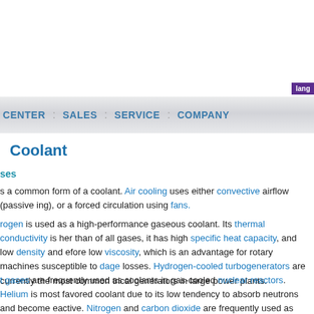lang
CENTER : SALES : SERVICE : COMPANY
Coolant
ses
s a common form of a coolant. Air cooling uses either convective airflow (passive ing), or a forced circulation using fans.
rogen is used as a high-performance gaseous coolant. Its thermal conductivity is her than of all gases, it has high specific heat capacity, and low density and efore low viscosity, which is an advantage for rotary machines susceptible to dage losses. Hydrogen-cooled turbogenerators are currently the most common trical generators in large power plants.
t gases are frequently used as coolants in gas-cooled nuclear reactors. Helium is most favored coolant due to its low tendency to absorb neutrons and become eactive. Nitrogen and carbon dioxide are frequently used as well.